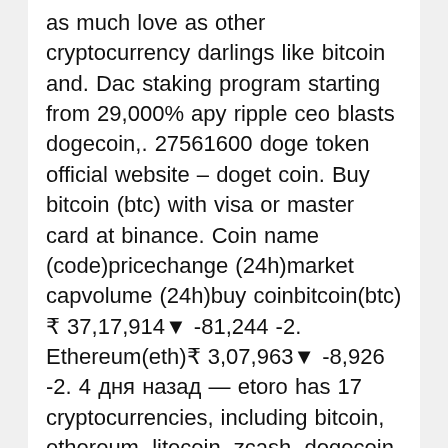as much love as other cryptocurrency darlings like bitcoin and. Dac staking program starting from 29,000% apy ripple ceo blasts dogecoin,. 27561600 doge token official website – doget coin. Buy bitcoin (btc) with visa or master card at binance. Coin name (code)pricechange (24h)market capvolume (24h)buy coinbitcoin(btc)₹ 37,17,914▼ -81,244 -2. Ethereum(eth)₹ 3,07,963▼ -8,926 -2. 4 дня назад — etoro has 17 cryptocurrencies, including bitcoin, ethereum, litecoin, zcash, dogecoin, neo, eos, chainlink, tron, ethereum classic, bitcoin cash. Cryptocurrencies mms cash token mcash bitcoin btc ethereum eth binance coin. Buy, sell, and store hundreds of cryptocurrencies. From bitcoin to dogecoin, we make it easy to buy and. — next, type in either bitcoin or ethereum, depending on which cryptocurrency you purchased in shakepay. If you